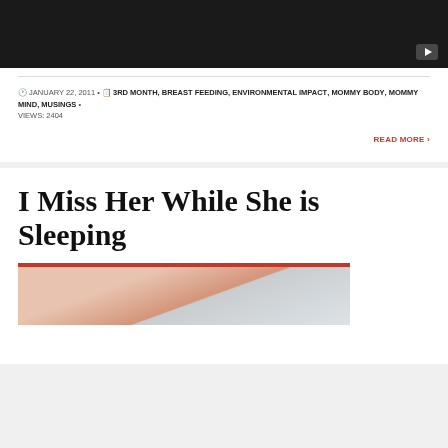[Figure (screenshot): Video player with dark background and play button in bottom right corner]
JANUARY 22, 2011 • 3RD MONTH, BREAST FEEDING, ENVIRONMENTAL IMPACT, MOMMY BODY, MOMMY MIND, MUSINGS • VIEWS: 2404
READ MORE ›
I Miss Her While She is Sleeping
[Figure (photo): Close-up photo of a sleeping baby, partial view]